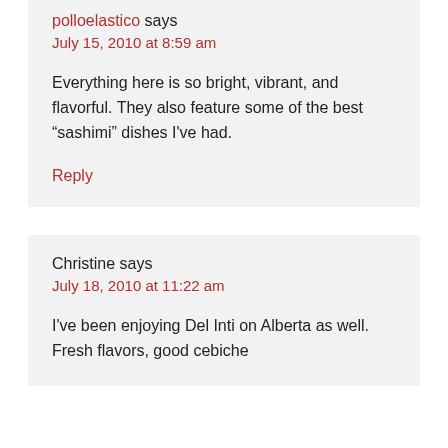polloelastico says
July 15, 2010 at 8:59 am
Everything here is so bright, vibrant, and flavorful. They also feature some of the best “sashimi” dishes I've had.
Reply
Christine says
July 18, 2010 at 11:22 am
I've been enjoying Del Inti on Alberta as well. Fresh flavors, good cebiche